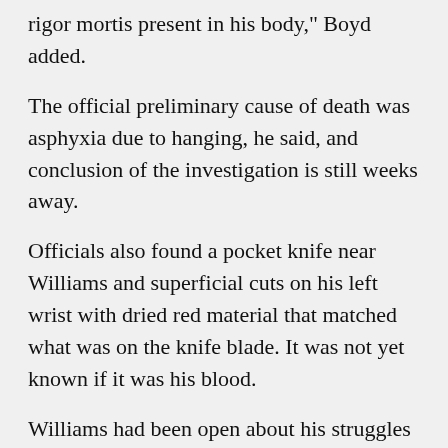rigor mortis present in his body," Boyd added.
The official preliminary cause of death was asphyxia due to hanging, he said, and conclusion of the investigation is still weeks away.
Officials also found a pocket knife near Williams and superficial cuts on his left wrist with dried red material that matched what was on the knife blade. It was not yet known if it was his blood.
Williams had been open about his struggles with alcohol and cocaine and in the past months had entered a rehabilitation center to help him maintain sobriety. But many questions remained over what could have led him to take his own life.
Williams’ publicist, Mara Buxbaum, said on Monday that he had been suffering from severe depression, and Boyd acknowledged that he had been seeking treatment without giving more details.
His tragic end stood in stark contrast to the many on-screen characters he portrayed who encouraged those